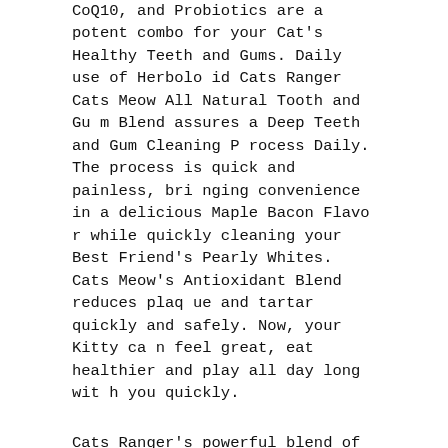CoQ10, and Probiotics are a potent combo for your Cat's Healthy Teeth and Gums. Daily use of Herboloid Cats Ranger Cats Meow All Natural Tooth and Gum Blend assures a Deep Teeth and Gum Cleaning Process Daily. The process is quick and painless, bringing convenience in a delicious Maple Bacon Flavor while quickly cleaning your Best Friend's Pearly Whites. Cats Meow's Antioxidant Blend reduces plaque and tartar quickly and safely. Now, your Kitty can feel great, eat healthier and play all day long with you quickly.
Cats Ranger's powerful blend of All-Natural Vitamins, Minerals, and Herbs fight Tooth Decay. Fennel helps clean Your Cat's Teeth naturally and it also supports Bone Health, Helps with Digestion, and is Packed with Antioxidants. Cranberries are rich in Antioxidants, they have many well-researched Anti-Inflammatory Properties. Cranberries are not just goo...